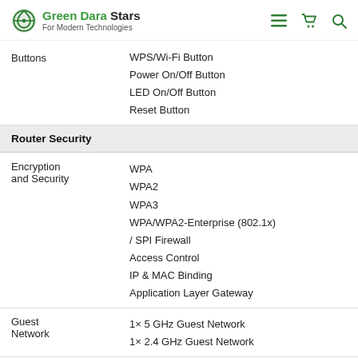Green Dara Stars For Modern Technologies
| Buttons | WPS/Wi-Fi Button
Power On/Off Button
LED On/Off Button
Reset Button |
| Router Security |  |
| Encryption and Security | WPA
WPA2
WPA3
WPA/WPA2-Enterprise (802.1x) / SPI Firewall
Access Control
IP & MAC Binding
Application Layer Gateway |
| Guest Network | 1× 5 GHz Guest Network
1× 2.4 GHz Guest Network |